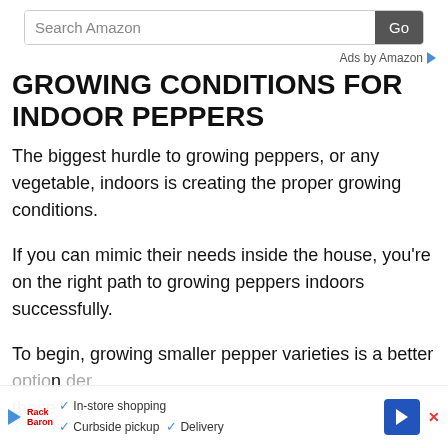Search Amazon   Go
Ads by Amazon
GROWING CONDITIONS FOR INDOOR PEPPERS
The biggest hurdle to growing peppers, or any vegetable, indoors is creating the proper growing conditions.
If you can mimic their needs inside the house, you're on the right path to growing peppers indoors successfully.
To begin, growing smaller pepper varieties is a better option... these
In-store shopping   Curbside pickup   Delivery